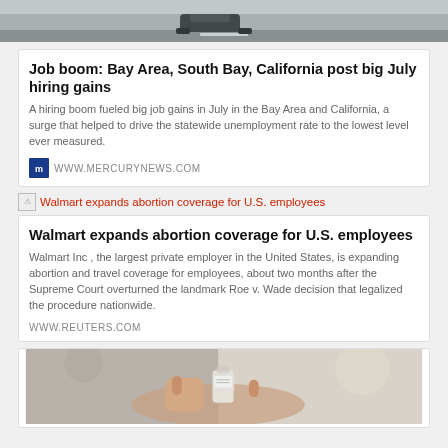[Figure (photo): Top strip showing a car on a road, partially visible]
Job boom: Bay Area, South Bay, California post big July hiring gains
A hiring boom fueled big job gains in July in the Bay Area and California, a surge that helped to drive the statewide unemployment rate to the lowest level ever measured.
WWW.MERCURYNEWS.COM
Walmart expands abortion coverage for U.S. employees
Walmart expands abortion coverage for U.S. employees
Walmart Inc , the largest private employer in the United States, is expanding abortion and travel coverage for employees, about two months after the Supreme Court overturned the landmark Roe v. Wade decision that legalized the procedure nationwide.
WWW.REUTERS.COM
[Figure (photo): Close-up of a person holding a small medical vial between fingers]